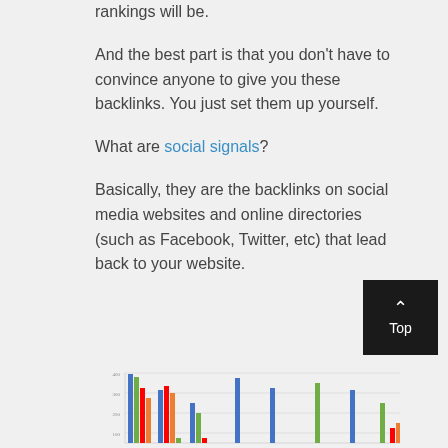rankings will be.
And the best part is that you don't have to convince anyone to give you these backlinks. You just set them up yourself.
What are social signals?
Basically, they are the backlinks on social media websites and online directories (such as Facebook, Twitter, etc) that lead back to your website.
[Figure (grouped-bar-chart): Grouped bar chart showing multiple colored bars (blue, green, red, orange) across multiple categories, partially visible at the bottom of the page]